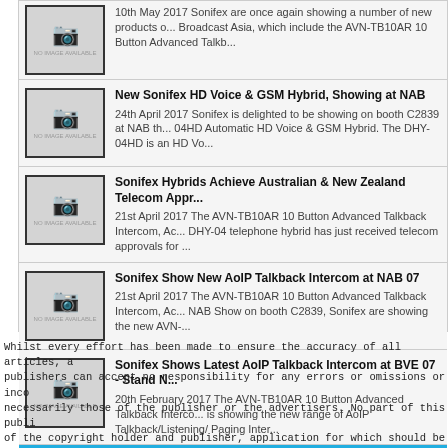10th May 2017 Sonifex are once again showing a number of new products o... Broadcast Asia, which include the AVN-TB10AR 10 Button Advanced Talkb...
New Sonifex HD Voice & GSM Hybrid, Showing at NAB — 24th April 2017 Sonifex is delighted to be showing on booth C2839 at NAB th... 04HD Automatic HD Voice & GSM Hybrid. The DHY-04HD is an HD Vo...
Sonifex Hybrids Achieve Australian & New Zealand Telecom Appr... — 21st April 2017 The AVN-TB10AR 10 Button Advanced Talkback Intercom, Ac... DHY-04 telephone hybrid has just received telecom approvals for ...
Sonifex Show New AoIP Talkback Intercom at NAB 07 — 21st April 2017 The AVN-TB10AR 10 Button Advanced Talkback Intercom, Ac... NAB Show on booth C2839, Sonifex are showing the new AVN-...
Sonifex Shows Latest AoIP Talkback Intercom at BVE 07 - Stand N... — 20th February 2017 The AVN-TB10AR 10 Button Advanced Talkback Interco... is showing the new range of AoIP Talkback/Listening/ Paging Inter...
VIEW MOST RECENT HEADLINES
Whilst every effort has been made to ensure the accuracy of all articles, a publishers can accept no responsibility for any errors or omissions or inco necessarily those of the publisher or the advertisers. No part of this publi of the copyright holder and publisher, application for which should be mad a charge of £10,000 if the site is used for advertising canvassing purpose